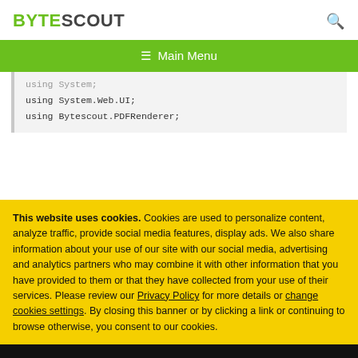BYTESCOUT
[Figure (screenshot): Navigation bar with hamburger menu icon and Main Menu text on green background]
using System;
using System.Web.UI;
using Bytescout.PDFRenderer;
This website uses cookies. Cookies are used to personalize content, analyze traffic, provide social media features, display ads. We also share information about your use of our site with our social media, advertising and analytics partners who may combine it with other information that you have provided to them or that they have collected from your use of their services. Please review our Privacy Policy for more details or change cookies settings. By closing this banner or by clicking a link or continuing to browse otherwise, you consent to our cookies.
OK